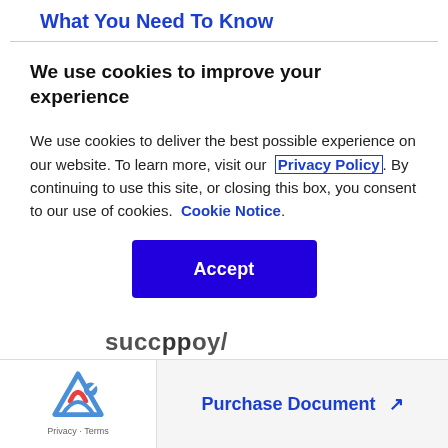What You Need To Know
We use cookies to improve your experience
We use cookies to deliver the best possible experience on our website. To learn more, visit our Privacy Policy. By continuing to use this site, or closing this box, you consent to our use of cookies. Cookie Notice.
Accept
Purchase Document ↗